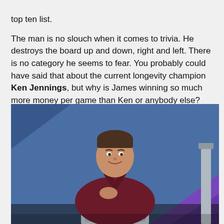top ten list.
The man is no slouch when it comes to trivia. He destroys the board up and down, right and left. There is no category he seems to fear. You probably could have said that about the current longevity champion Ken Jennings, but why is James winning so much more money per game than Ken or anybody else? you might ask.
[Figure (photo): A man in a dark maroon button-up shirt standing at what appears to be a Jeopardy! game show podium, with a blue textured background and purple/blue angled panels typical of the Jeopardy! set. He is smiling slightly and has one hand placed on his chest.]